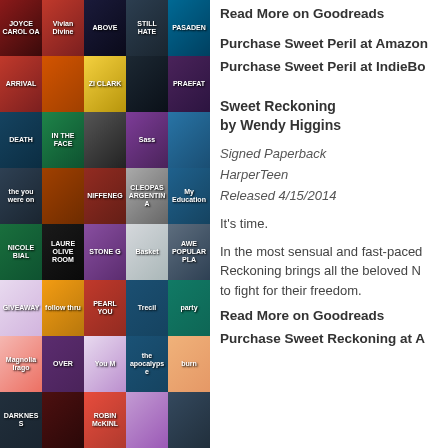[Figure (illustration): Grid of book cover thumbnails arranged in 8 rows and 5 columns showing various book covers in different colors and styles]
Read More on Goodreads
Purchase Sweet Peril at Amazon
Purchase Sweet Peril at IndieBo
Sweet Reckoning
by Wendy Higgins
Signed Paperback
HarperTeen
Released 4/15/2014
It's time.
In the most sensual and fast-paced... Reckoning brings all the beloved N... to fight for their freedom.
Read More on Goodreads
Purchase Sweet Reckoning at A